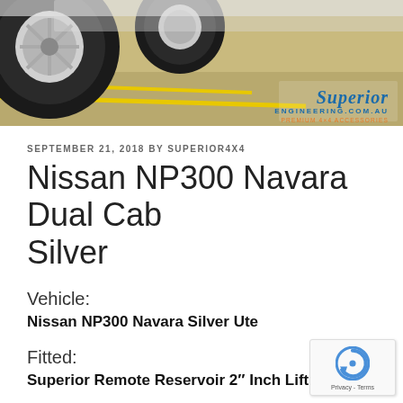[Figure (photo): Header image showing a vehicle tire/wheel on a concrete floor with yellow line markings, and a Superior Engineering logo in the bottom right corner]
SEPTEMBER 21, 2018 BY SUPERIOR4X4
Nissan NP300 Navara Dual Cab Silver
Vehicle:
Nissan NP300 Navara Silver Ute
Fitted:
Superior Remote Reservoir 2″ Inch Lift Kit +